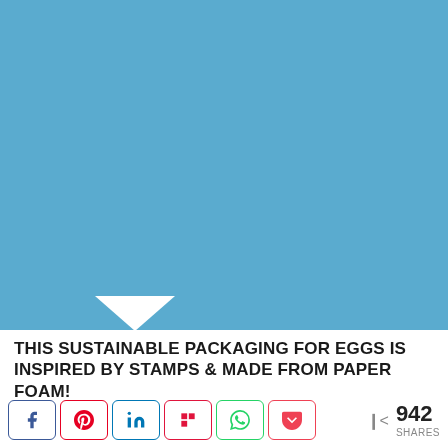[Figure (illustration): Solid light blue rectangle placeholder image area with a small white triangular tab at the bottom-left portion of the lower edge]
THIS SUSTAINABLE PACKAGING FOR EGGS IS INSPIRED BY STAMPS & MADE FROM PAPER FOAM!
942 SHARES (social share buttons: Facebook, Pinterest, LinkedIn, Flipboard, WhatsApp, Pocket)